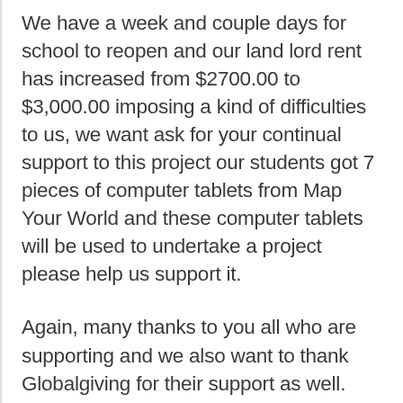We have a week and couple days for school to reopen and our land lord rent has increased from $2700.00 to $3,000.00 imposing a kind of difficulties to us, we want ask for your continual support to this project our students got 7 pieces of computer tablets from Map Your World and these computer tablets will be used to undertake a project please help us support it.
Again, many thanks to you all who are supporting and we also want to thank Globalgiving for their support as well.